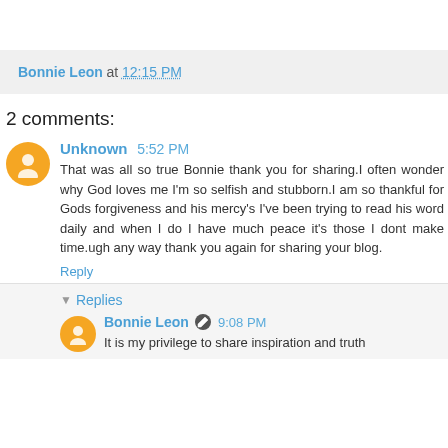Bonnie Leon at 12:15 PM
2 comments:
Unknown 5:52 PM
That was all so true Bonnie thank you for sharing.I often wonder why God loves me I'm so selfish and stubborn.I am so thankful for Gods forgiveness and his mercy's I've been trying to read his word daily and when I do I have much peace it's those I dont make time.ugh any way thank you again for sharing your blog.
Reply
Replies
Bonnie Leon 9:08 PM
It is my privilege to share inspiration and truth